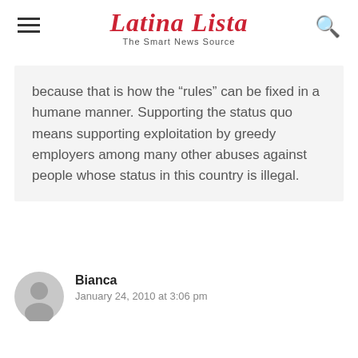Latina Lista — The Smart News Source
because that is how the “rules” can be fixed in a humane manner. Supporting the status quo means supporting exploitation by greedy employers among many other abuses against people whose status in this country is illegal.
Bianca
January 24, 2010 at 3:06 pm